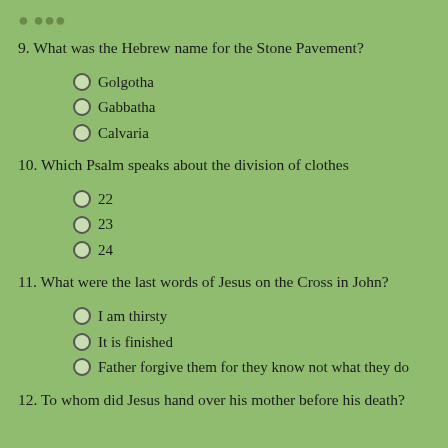9. What was the Hebrew name for the Stone Pavement?
Golgotha
Gabbatha
Calvaria
10. Which Psalm speaks about the division of clothes
22
23
24
11. What were the last words of Jesus on the Cross in John?
I am thirsty
It is finished
Father forgive them for they know not what they do
12. To whom did Jesus hand over his mother before his death?